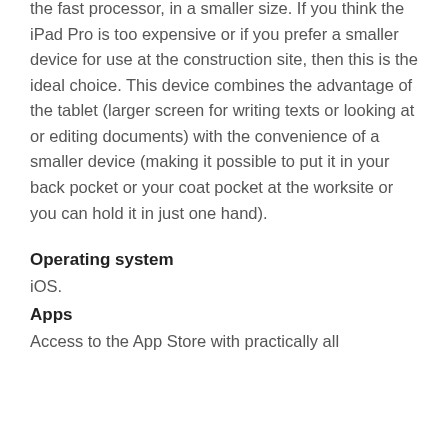the fast processor, in a smaller size. If you think the iPad Pro is too expensive or if you prefer a smaller device for use at the construction site, then this is the ideal choice. This device combines the advantage of the tablet (larger screen for writing texts or looking at or editing documents) with the convenience of a smaller device (making it possible to put it in your back pocket or your coat pocket at the worksite or you can hold it in just one hand).
Operating system
iOS.
Apps
Access to the App Store with practically all Apps available for construction...